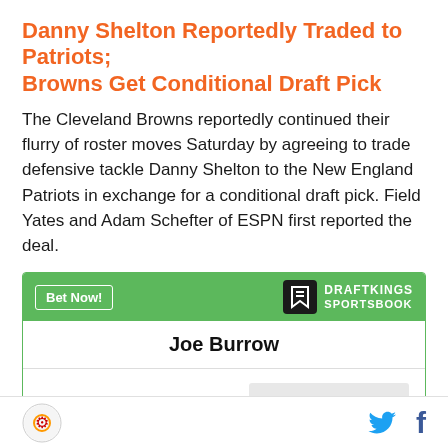Danny Shelton Reportedly Traded to Patriots; Browns Get Conditional Draft Pick
The Cleveland Browns reportedly continued their flurry of roster moves Saturday by agreeing to trade defensive tackle Danny Shelton to the New England Patriots in exchange for a conditional draft pick. Field Yates and Adam Schefter of ESPN first reported the deal.
[Figure (other): DraftKings Sportsbook betting widget showing Joe Burrow with odds +1200 To win MVP]
SB Nation logo, Twitter icon, Facebook icon